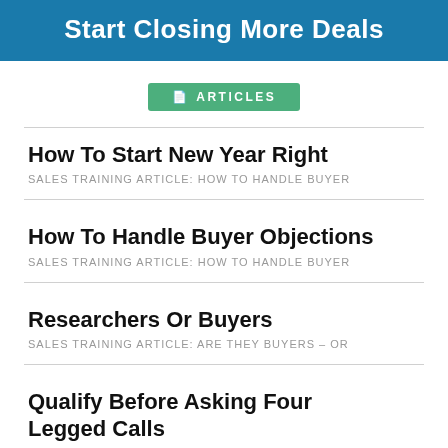Start Closing More Deals
ARTICLES
How To Start New Year Right
SALES TRAINING ARTICLE: HOW TO HANDLE BUYER
How To Handle Buyer Objections
SALES TRAINING ARTICLE: HOW TO HANDLE BUYER
Researchers Or Buyers
SALES TRAINING ARTICLE: ARE THEY BUYERS – OR
Qualify Before Asking Four Legged Calls